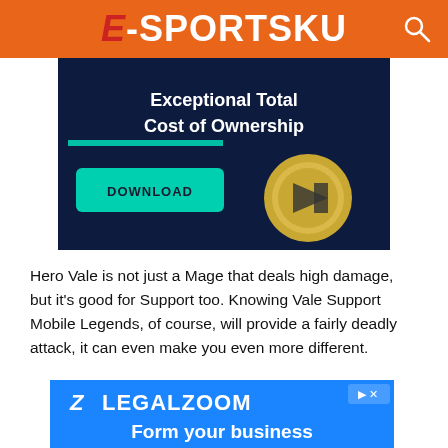E-SPORTSKU
[Figure (screenshot): Advertisement banner showing 'Exceptional Total Cost of Ownership' with a DOWNLOAD button and a gold coin graphic on dark blue background]
Hero Vale is not just a Mage that deals high damage, but it's good for Support too. Knowing Vale Support Mobile Legends, of course, will provide a fairly deadly attack, it can even make you even more different.
[Figure (screenshot): LegalZoom advertisement banner with blue background showing Z logo, LEGALZOOM text, and 'Form your business' text]